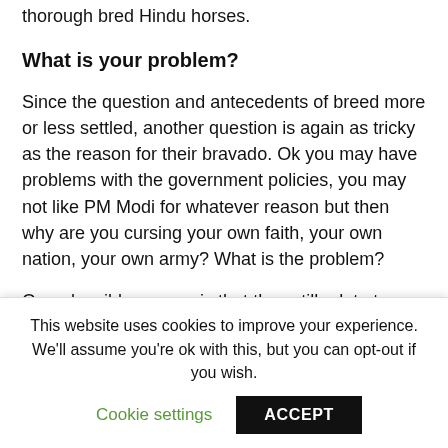thorough bred Hindu horses.
What is your problem?
Since the question and antecedents of breed more or less settled, another question is again as tricky as the reason for their bravado. Ok you may have problems with the government policies, you may not like PM Modi for whatever reason but then why are you cursing your own faith, your own nation, your own army? What is the problem?
One plausible answer is that they still relate to colonial hangover. Some of them are anglicized to the
This website uses cookies to improve your experience. We'll assume you're ok with this, but you can opt-out if you wish.
Cookie settings
ACCEPT